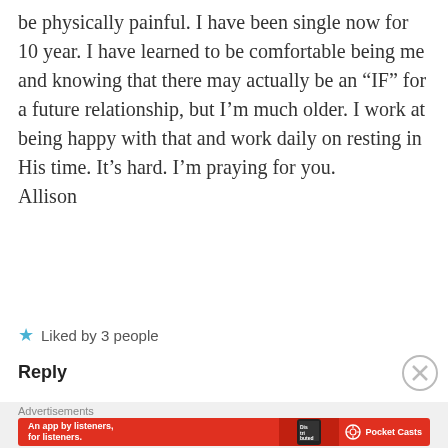be physically painful. I have been single now for 10 year. I have learned to be comfortable being me and knowing that there may actually be an “IF” for a future relationship, but I’m much older. I work at being happy with that and work daily on resting in His time. It’s hard. I’m praying for you.
Allison
★ Liked by 3 people
Reply
Advertisements
[Figure (other): Pocket Casts advertisement banner: red background with text 'An app by listeners, for listeners.' and Pocket Casts logo with a phone showing 'Distributed' text]